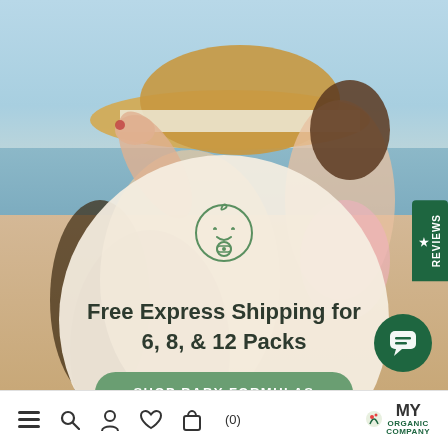[Figure (photo): Beach scene with woman wearing sun hat and child seen from behind, sandy beach and ocean in background]
Free Express Shipping for 6, 8, & 12 Packs
SHOP BABY FORMULAS
★ REVIEWS
≡  🔍  👤  ♡  🛍 (0)    MY ORGANIC COMPANY